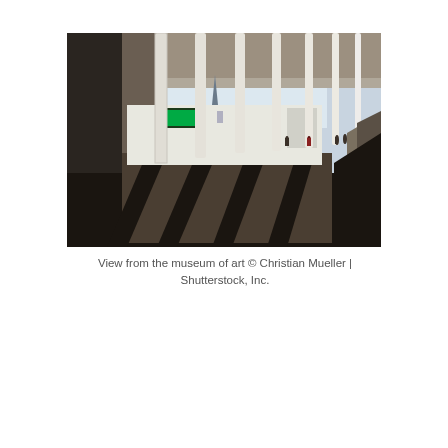[Figure (photo): View from inside a museum of art looking out through a covered colonnade. Tall white columns cast long shadows on the stone floor. In the background, a white building facade, a digital display board, and distant city spires are visible under a bright sky. A few people are scattered in the open plaza.]
View from the museum of art © Christian Mueller | Shutterstock, Inc.